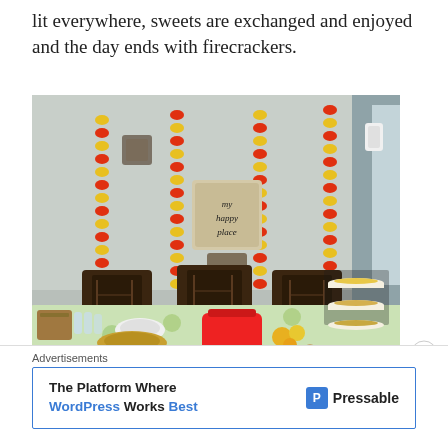lit everywhere, sweets are exchanged and enjoyed and the day ends with firecrackers.
[Figure (photo): Indoor Diwali decoration setup: a dining table with a floral tablecloth, marigold garland strings hanging on a gray wall, wooden chairs, tiered trays with sweets/snacks on the right, a basket with bread/crackers, water bottles, plates, a red Tupperware container, gold charger plate with items, marigold flowers and diyas on the table. A 'my happy place' wooden sign hangs on the wall.]
Advertisements
The Platform Where WordPress Works Best   Pressable